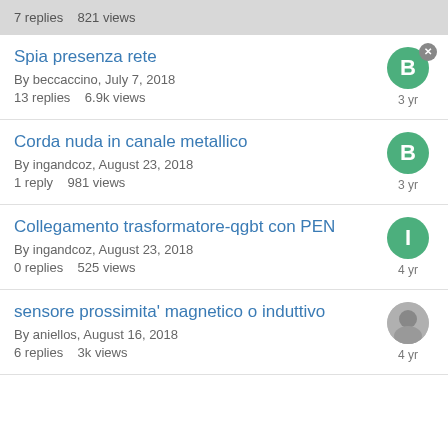7 replies   821 views
Spia presenza rete
By beccaccino, July 7, 2018
13 replies   6.9k views
Corda nuda in canale metallico
By ingandcoz, August 23, 2018
1 reply   981 views
Collegamento trasformatore-qgbt con PEN
By ingandcoz, August 23, 2018
0 replies   525 views
sensore prossimita' magnetico o induttivo
By aniellos, August 16, 2018
6 replies   3k views